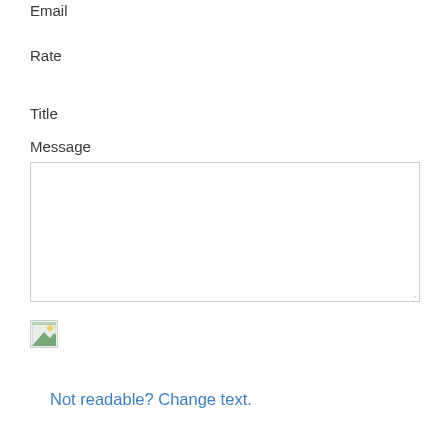Email
Rate
Title
Message
[Figure (other): Text area input box with resize handle]
[Figure (photo): Small captcha image icon with landscape/image placeholder]
Not readable? Change text.